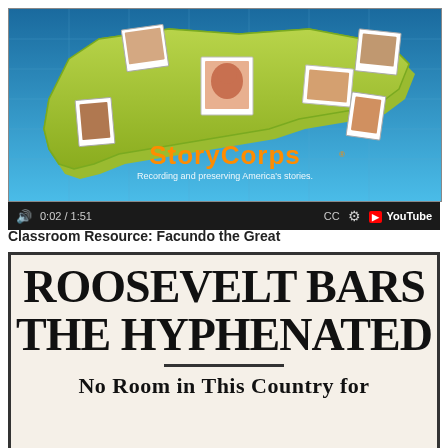[Figure (screenshot): YouTube video screenshot showing StoryCorps animated intro with a stylized 3D map of the United States on a blue globe-grid background, featuring cartoon character portraits placed on various regions of the map. The StoryCorps logo and tagline 'Recording and preserving America's stories.' appear in the lower portion. Video progress bar shows 0:02 / 1:51.]
Classroom Resource: Facundo the Great
[Figure (screenshot): Newspaper clipping with large bold headline text reading 'ROOSEVELT BARS THE HYPHENATED' with a horizontal rule beneath, followed by subheadline 'No Room in This Country for']
No Room in This Country for